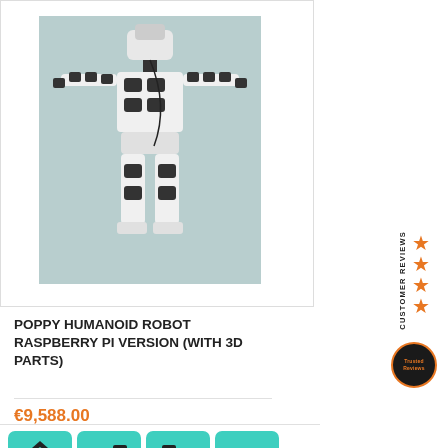[Figure (photo): Poppy humanoid robot standing with arms outstretched, white and black body with visible servo motors, against a gray background]
POPPY HUMANOID ROBOT RASPBERRY PI VERSION (WITH 3D PARTS)
€9,588.00
[Figure (infographic): Row of colored icon tiles showing robot assembly/programming steps on teal and yellow backgrounds]
[Figure (infographic): Sidebar: Customer Reviews stars (4 stars, orange) and a Trusted Reviews badge]